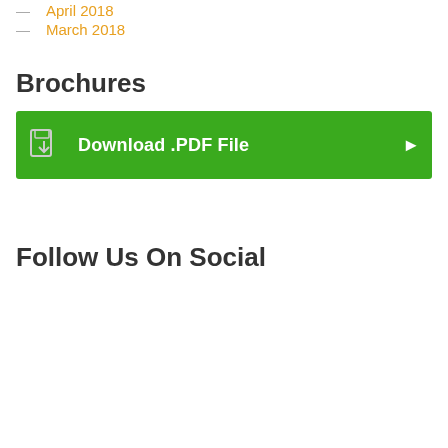April 2018
March 2018
Brochures
Download .PDF File
Follow Us On Social